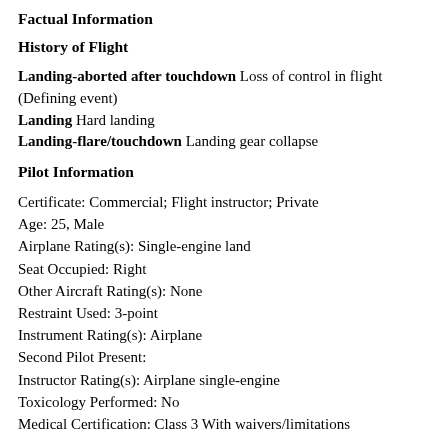Factual Information
History of Flight
Landing-aborted after touchdown Loss of control in flight (Defining event)
Landing Hard landing
Landing-flare/touchdown Landing gear collapse
Pilot Information
Certificate: Commercial; Flight instructor; Private
Age: 25, Male
Airplane Rating(s): Single-engine land
Seat Occupied: Right
Other Aircraft Rating(s): None
Restraint Used: 3-point
Instrument Rating(s): Airplane
Second Pilot Present:
Instructor Rating(s): Airplane single-engine
Toxicology Performed: No
Medical Certification: Class 3 With waivers/limitations